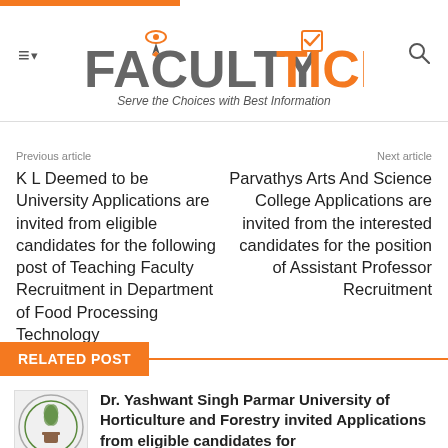[Figure (logo): Faculty Tick logo with pen/graduation cap icon and tagline 'Serve the Choices with Best Information']
Previous article
K L Deemed to be University Applications are invited from eligible candidates for the following post of Teaching Faculty Recruitment in Department of Food Processing Technology
Next article
Parvathys Arts And Science College Applications are invited from the interested candidates for the position of Assistant Professor Recruitment
RELATED POST
Dr. Yashwant Singh Parmar University of Horticulture and Forestry invited Applications from eligible candidates for